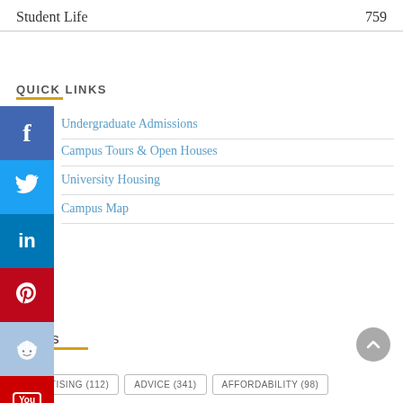Student Life  759
QUICK LINKS
Undergraduate Admissions
Campus Tours & Open Houses
University Housing
Campus Map
TAGS
ADVERTISING (112)
ADVICE (341)
AFFORDABILITY (98)